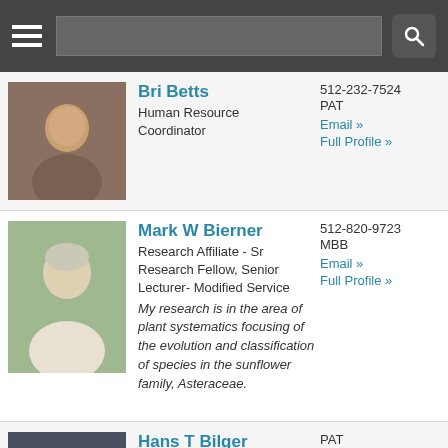Navigation bar with hamburger menu and search
Bri Betts
Human Resource Coordinator
512-232-7524
PAT
Email »
Full Profile »
Mark W Bierner
Research Affiliate - Sr Research Fellow, Senior Lecturer- Modified Service
My research is in the area of plant systematics focusing of the evolution and classification of species in the sunflower family, Asteraceae.
512-820-9723
MBB
Email »
Full Profile »
Hans T Bilger
Graduate Student Fellow - Ryan Lab
I'm PhD student in the labs
PAT
Email »
Full Profile »